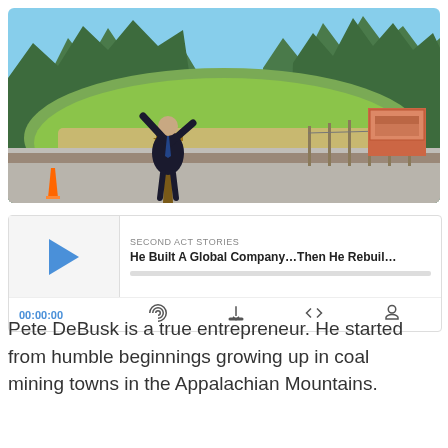[Figure (photo): A man in a dark suit speaking at a wooden podium at an outdoor construction or groundbreaking site. There is a gravel/dirt area, green hills with trees in the background, a blue sky, and a rendering sign board visible to the right.]
[Figure (screenshot): Audio podcast player widget showing 'SECOND ACT STORIES' label, title 'He Built A Global Company...Then He Rebuil...', a play button, progress bar, time display 00:00:00, and control icons for subscribe, download, embed, and another function.]
Pete DeBusk is a true entrepreneur. He started from humble beginnings growing up in coal mining towns in the Appalachian Mountains.